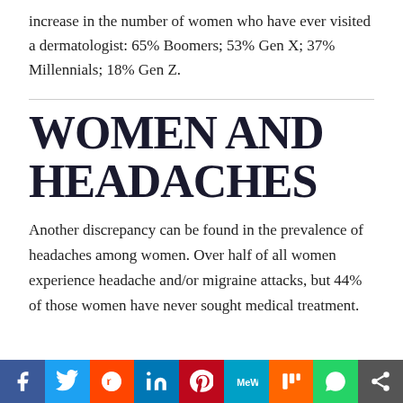increase in the number of women who have ever visited a dermatologist: 65% Boomers; 53% Gen X; 37% Millennials; 18% Gen Z.
WOMEN AND HEADACHES
Another discrepancy can be found in the prevalence of headaches among women. Over half of all women experience headache and/or migraine attacks, but 44% of those women have never sought medical treatment.
Social share bar: Facebook, Twitter, Reddit, LinkedIn, Pinterest, MeWe, Mix, WhatsApp, Share